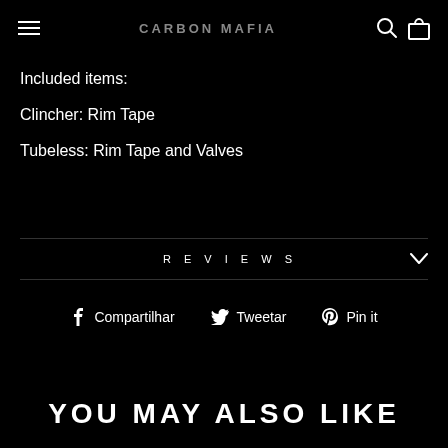CARBON MAFIA
Included items:
Clincher: Rim Tape
Tubeless: Rim Tape and Valves
REVIEWS
Compartilhar  Tweetar  Pin it
YOU MAY ALSO LIKE